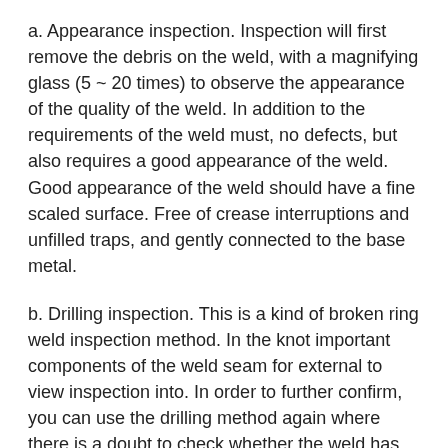a. Appearance inspection. Inspection will first remove the debris on the weld, with a magnifying glass (5 ~ 20 times) to observe the appearance of the quality of the weld. In addition to the requirements of the weld must, no defects, but also requires a good appearance of the weld. Good appearance of the weld should have a fine scaled surface. Free of crease interruptions and unfilled traps, and gently connected to the base metal.
b. Drilling inspection. This is a kind of broken ring weld inspection method. In the knot important components of the weld seam for external to view inspection into. In order to further confirm, you can use the drilling method again where there is a doubt to check whether the weld has pores, slag, not welded through and other defects, and after the inspection is completed, fill the eye with the same welding rod as the original weld.